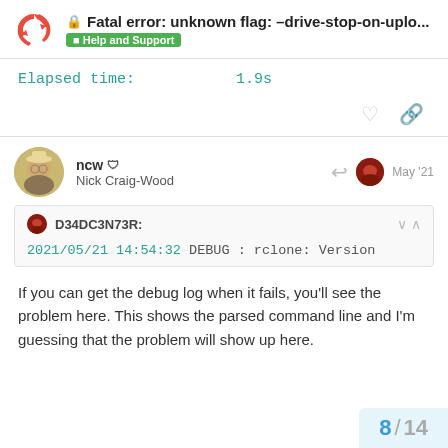Fatal error: unknown flag: –drive-stop-on-uplo... | Help and Support
Elapsed time:    1.9s
ncw Nick Craig-Wood  May '21
D34DC3N73R:
2021/05/21 14:54:32 DEBUG : rclone: Version
If you can get the debug log when it fails, you'll see the problem here. This shows the parsed command line and I'm guessing that the problem will show up here.
8 / 14